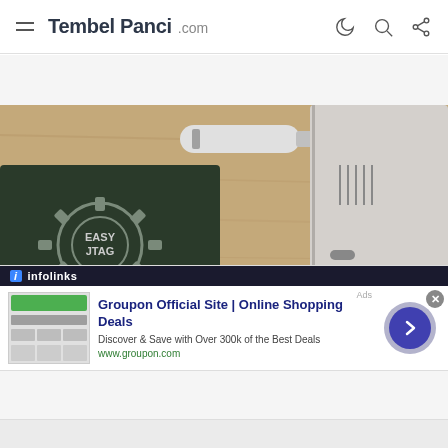Tembel Panci .com
[Figure (photo): Close-up photo of an EasyJTAG device box on a wooden surface next to a smartphone and a USB cable/adapter connector]
[Figure (screenshot): Infolinks advertisement for Groupon Official Site | Online Shopping Deals. Text: Discover & Save with Over 300k of the Best Deals. URL: www.groupon.com. Includes thumbnail images, a close button (x), and a blue circular arrow button.]